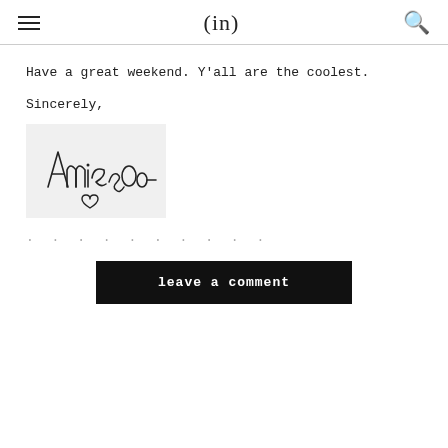(in)
Have a great weekend. Y'all are the coolest.
Sincerely,
[Figure (illustration): Handwritten signature reading 'Annie &Oom' with a small heart drawn below]
. . . . . . . . . .
leave a comment